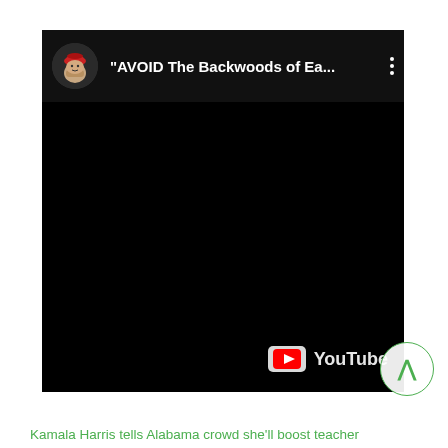[Figure (screenshot): A YouTube video embed showing a black thumbnail with a channel icon (cartoon character with red hat), video title '"AVOID The Backwoods of Ea...', three-dot menu, and YouTube watermark in the bottom right corner.]
[Figure (other): A circular scroll-up button with a green border and green caret/arrow symbol (^) in the bottom right area.]
Kamala Harris tells Alabama crowd she’ll boost teacher